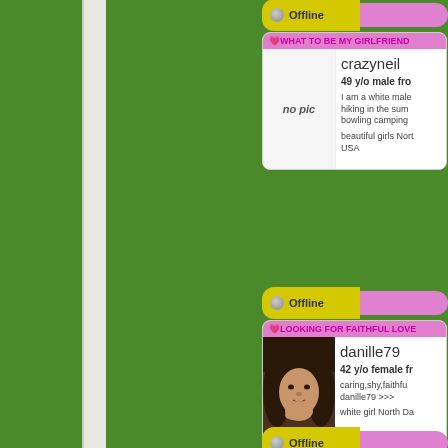[Figure (screenshot): Dating website screenshot showing user profiles on green background. Partial view showing right column with two profile cards: crazyneil (49 y/o male) and danille79 (42 y/o female), each with Offline status bars.]
Offline
💗WHAT TO BE MY GIRLFRIEND
crazyneil
49 y/o male fro
no pic
I am a white male hiking in the sum bowling camping
beautiful girls Nort USA
Offline
💗LOOKING FOR FAITHFUL LOVE
danille79
42 y/o female fr
caring,shy,faithfu danille79 >>>
white girl North Da
Offline